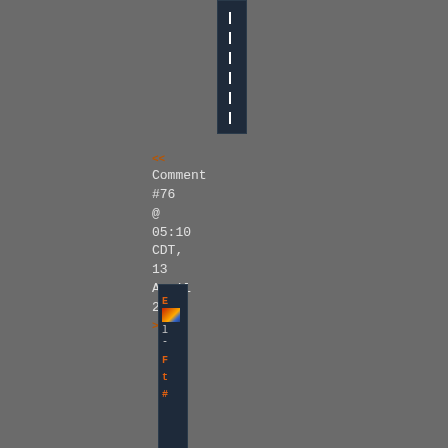[Figure (screenshot): Dark UI element — narrow vertical bar with dashed white center line, positioned near top center of page]
<< Comment #76 @ 05:10 CDT, 13 April 2020 >>
[Figure (screenshot): Dark narrow vertical panel with orange/colored UI elements — edit toolbar fragment rotated vertically, showing E, image icon, l, -, F, t, # symbols in orange and multicolor]